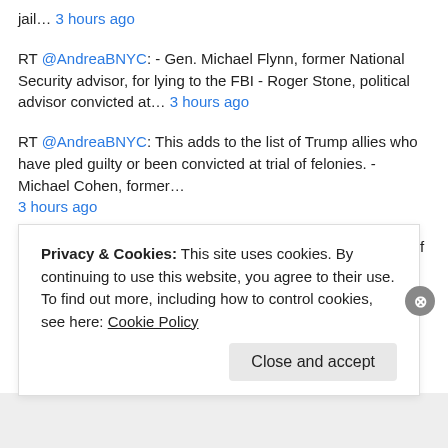jail… 3 hours ago
RT @AndreaBNYC: - Gen. Michael Flynn, former National Security advisor, for lying to the FBI - Roger Stone, political advisor convicted at… 3 hours ago
RT @AndreaBNYC: This adds to the list of Trump allies who have pled guilty or been convicted at trial of felonies. - Michael Cohen, former… 3 hours ago
RT @AndreaBNYC: Judge Juan Merchan tells Weisselberg if he violates his plea deal, for example if he fails to testify truthfully or fails t… 3 hours ago
RT @nytpolitics: The Biden administration said that it would begin
Privacy & Cookies: This site uses cookies. By continuing to use this website, you agree to their use.
To find out more, including how to control cookies, see here: Cookie Policy
Close and accept